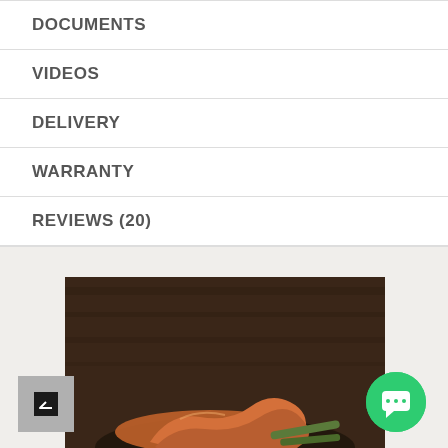DOCUMENTS
VIDEOS
DELIVERY
WARRANTY
REVIEWS (20)
[Figure (photo): Food photo showing grilled or roasted meat/crab on a plate with vegetables, on a dark wooden background. Partially visible with a back-to-top button (gray square with up arrow) on the left and a green circular chat button with a message icon on the right.]